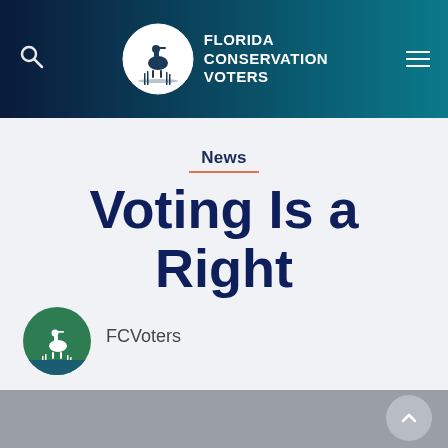[Figure (logo): Florida Conservation Voters logo with heron in a white circle, white bold text reading FLORIDA CONSERVATION VOTERS, on dark teal-to-navy gradient navigation bar with search icon and hamburger menu]
News
Voting Is a Right
[Figure (logo): FCVoters circular logo with white heron on green background]
FCVoters